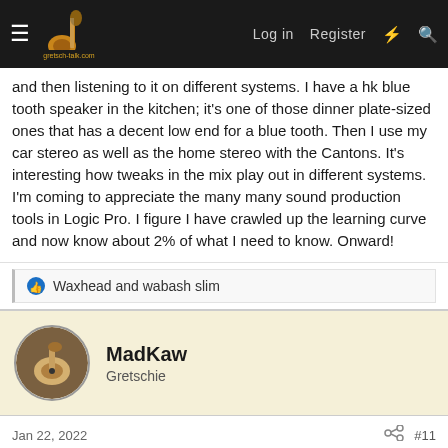gretsch-talk.com | Log in | Register
and then listening to it on different systems. I have a hk blue tooth speaker in the kitchen; it's one of those dinner plate-sized ones that has a decent low end for a blue tooth. Then I use my car stereo as well as the home stereo with the Cantons. It's interesting how tweaks in the mix play out in different systems. I'm coming to appreciate the many many sound production tools in Logic Pro. I figure I have crawled up the learning curve and now know about 2% of what I need to know. Onward!
Waxhead and wabash slim
MadKaw
Gretschie
Jan 22, 2022
#11
Love all the advice... thanks, guys.
On headphones: I have a decent pair that I found with the help of the techs at Sweetwater. I have rather large ears, and over ear headphones tend to be on ear... not comfortable. I got a pair of